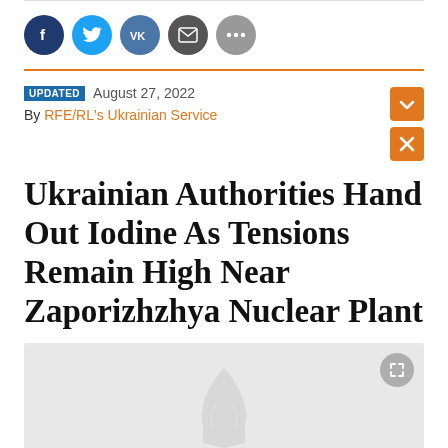[Figure (other): Social media sharing icons row: Facebook (dark blue), Twitter (light blue), VK (steel blue), Email (dark gray), More (gray)]
UPDATED August 27, 2022
By RFE/RL's Ukrainian Service
Ukrainian Authorities Hand Out Iodine As Tensions Remain High Near Zaporizhzhya Nuclear Plant
[Figure (photo): Gray placeholder image area with a faint RFE/RL watermark logo (stylized leaf/plant graphic) in the center, and a fullscreen icon button in the top-right corner.]